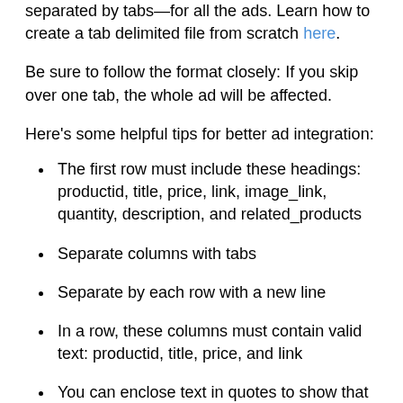separated by tabs—for all the ads. Learn how to create a tab delimited file from scratch here.
Be sure to follow the format closely: If you skip over one tab, the whole ad will be affected.
Here's some helpful tips for better ad integration:
The first row must include these headings: productid, title, price, link, image_link, quantity, description, and related_products
Separate columns with tabs
Separate by each row with a new line
In a row, these columns must contain valid text: productid, title, price, and link
You can enclose text in quotes to show that text should be contained as a unit